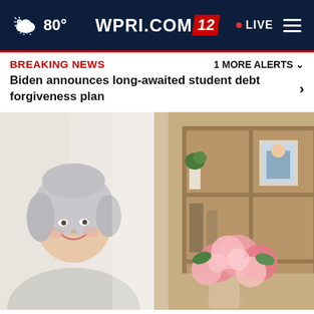WPRI.COM 12 — 80° — LIVE
BREAKING NEWS   1 MORE ALERTS ˅
Biden announces long-awaited student debt forgiveness plan
[Figure (photo): Smiling older woman with grey hair seated indoors, with a bookshelf and pink flower bouquet in the background]